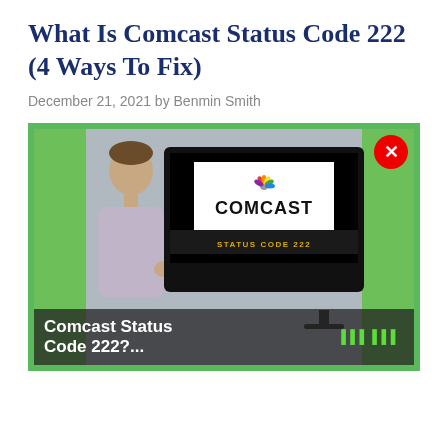What Is Comcast Status Code 222 (4 Ways To Fix)
December 21, 2021 by Benmin Smith
[Figure (photo): A person gesturing toward a TV screen displaying the Comcast logo and 'STATUS CODE 222', set against a green-bordered background. A red close button appears in the top-right corner. The bottom overlay shows 'Comcast Status Code 222?...' in white text with green text on the right.]